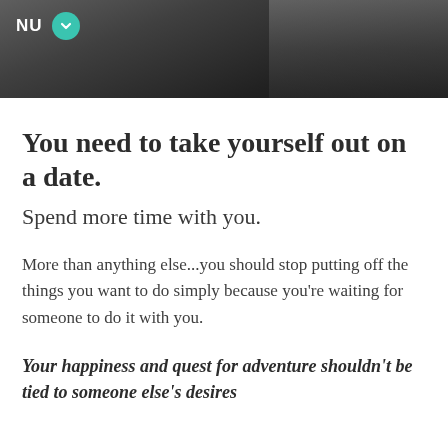[Figure (photo): Partial screenshot of a website showing a dark/moody photo of a person near a window, with a navigation menu label 'NU' and a teal circular dropdown button.]
You need to take yourself out on a date.
Spend more time with you.
More than anything else...you should stop putting off the things you want to do simply because you're waiting for someone to do it with you.
Your happiness and quest for adventure shouldn't be tied to someone else's desires